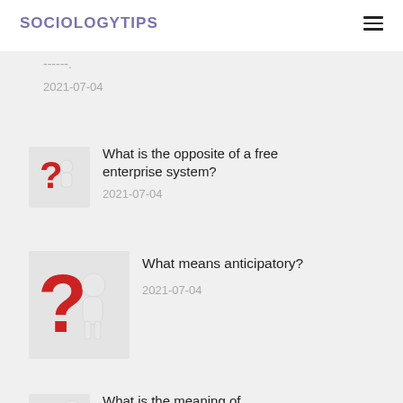SOCIOLOGYTIPS
2021-07-04
[Figure (illustration): 3D figure of a white humanoid character standing next to a large red question mark]
What is the opposite of a free enterprise system?
2021-07-04
[Figure (illustration): 3D figure of a white humanoid character standing next to a large red question mark]
What means anticipatory?
2021-07-04
[Figure (illustration): 3D figure of a white humanoid character standing next to a large red question mark]
What is the meaning of Metropolis in Greek literature?